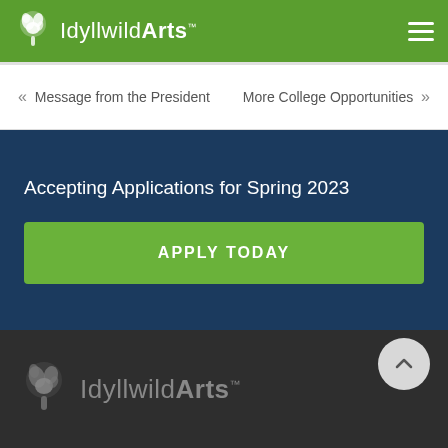Idyllwild Arts
« Message from the President   More College Opportunities »
Accepting Applications for Spring 2023
APPLY TODAY
Idyllwild Arts